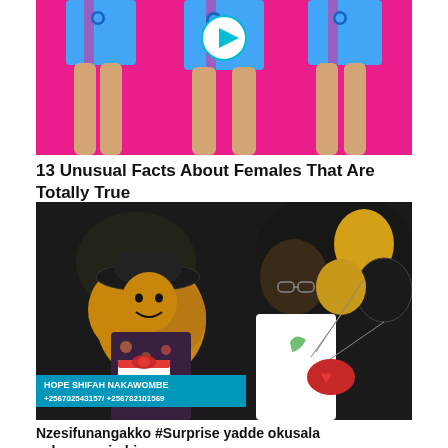[Figure (illustration): Illustrated cartoon image of three figures wearing blue shorts on a pink/magenta background, with a circular play button overlay in the center top area]
13 Unusual Facts About Females That Are Totally True
[Figure (photo): Nighttime photo of two people. A woman wearing a black hat and holding a white gift box with a red bow is on the left. A man in a white t-shirt holding black and gold balloons is on the right. Lower-third text reads: HOPE SHIFAH NAKAWOMBE +256702543157/ +256782101569]
Nzesifunangakko #Surprise yadde okusala cake.omuyimbi